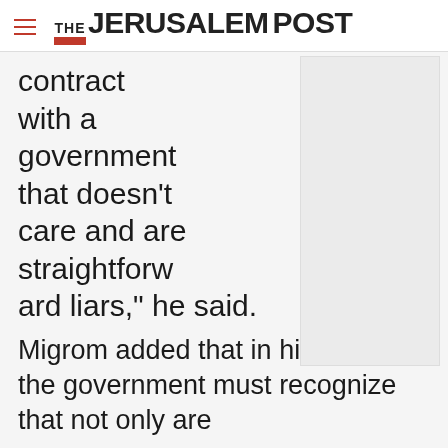THE JERUSALEM POST
contract with a government that doesn’t care and are straightforward liars,” he said.
[Figure (other): Advertisement placeholder image, light grey rectangle]
Migrom added that in his opinion, the government must recognize that not only are
Advertisement